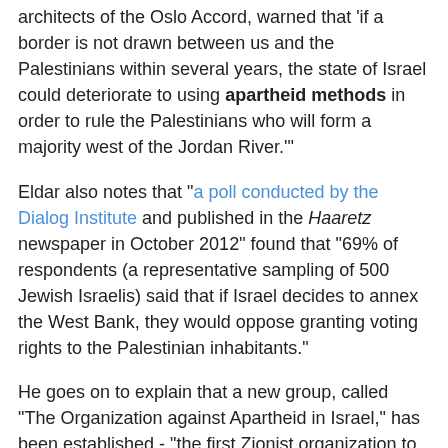architects of the Oslo Accord, warned that 'if a border is not drawn between us and the Palestinians within several years, the state of Israel could deteriorate to using apartheid methods in order to rule the Palestinians who will form a majority west of the Jordan River.'
Eldar also notes that "a poll conducted by the Dialog Institute and published in the Haaretz newspaper in October 2012" found that "69% of respondents (a representative sampling of 500 Jewish Israelis) said that if Israel decides to annex the West Bank, they would oppose granting voting rights to the Palestinian inhabitants."
He goes on to explain that a new group, called "The Organization against Apartheid in Israel," has been established - "the first Zionist organization to dare to include the dirty word “apartheid” in its name." Eldar continues:
Among the founding team are Dr. Moraleh (Mordechai) Bar-On, a former Knesset member (Meretz) who was the chief education officer of the IDF; Dr. Alon Liel, who was director general of